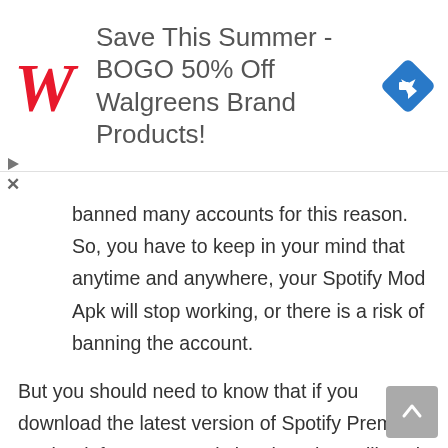[Figure (screenshot): Walgreens advertisement banner: red cursive W logo, text 'Save This Summer - BOGO 50% Off Walgreens Brand Products!', blue diamond navigation icon]
banned many accounts for this reason. So, you have to keep in your mind that anytime and anywhere, your Spotify Mod Apk will stop working, or there is a risk of banning the account.
But you should need to know that if you download the latest version of Spotify Premium Mod Apk from a trusted site, then they will work longer without any account ban. Don't worry! You didn't need to go anywhere.